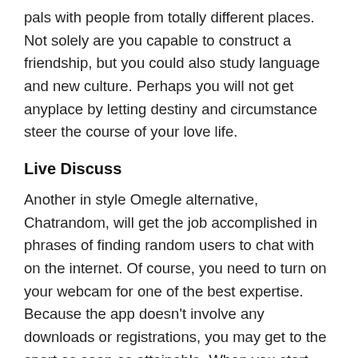pals with people from totally different places. Not solely are you capable to construct a friendship, but you could also study language and new culture. Perhaps you will not get anyplace by letting destiny and circumstance steer the course of your love life.
Live Discuss
Another in style Omegle alternative, Chatrandom, will get the job accomplished in phrases of finding random users to chat with on the internet. Of course, you need to turn on your webcam for one of the best expertise. Because the app doesn't involve any downloads or registrations, you may get to the sport as soon as attainable. When you start, you have to provide your gender, add the interests, and agree with the terms and situations. In a second or two, you'll be connected to another person. There can also be an choice to filter the chats primarily based on the gender and site of the person.